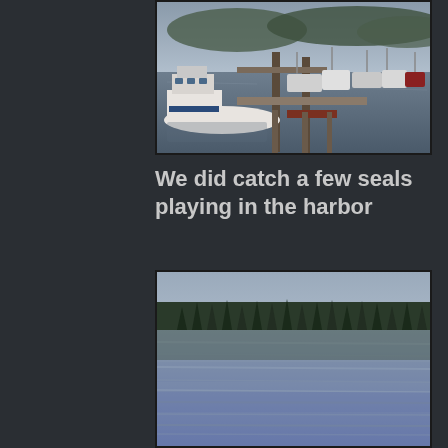[Figure (photo): A marina harbor scene showing multiple boats and yachts docked at a pier, with hills and mountains visible in the background under an overcast sky.]
We did catch a few seals playing in the harbor
[Figure (photo): A calm water scene with a treeline of dense dark conifers reflected in the still harbor water, slightly blurry or out of focus.]